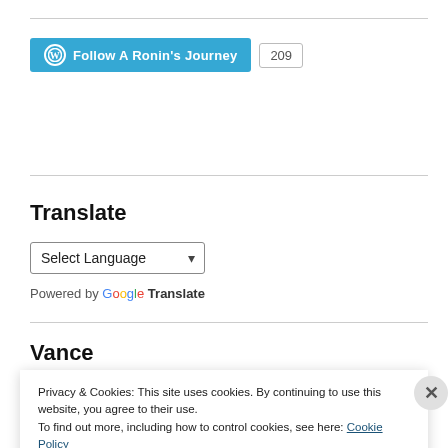[Figure (other): WordPress Follow button for 'A Ronin's Journey' with follower count badge showing 209]
Translate
[Figure (other): Select Language dropdown widget with Google Translate branding]
Vance
[Figure (photo): Partial image visible under the Vance heading, showing foliage/outdoor scene]
Privacy & Cookies: This site uses cookies. By continuing to use this website, you agree to their use.
To find out more, including how to control cookies, see here: Cookie Policy
Close and accept